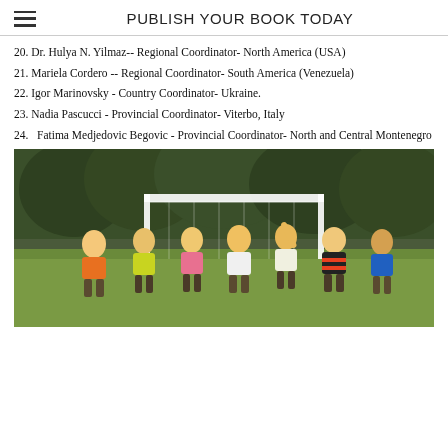PUBLISH YOUR BOOK TODAY
20. Dr. Hulya N. Yilmaz-- Regional Coordinator- North America (USA)
21. Mariela Cordero -- Regional Coordinator- South America (Venezuela)
22. Igor Marinovsky - Country Coordinator- Ukraine.
23. Nadia Pascucci - Provincial Coordinator- Viterbo, Italy
24. Fatima Medjedovic Begovic - Provincial Coordinator- North and Central Montenegro
[Figure (photo): Group of young children (toddlers/preschoolers) standing in front of a soccer goal on a grassy field with trees in the background, wearing colorful shirts and appearing to cheer or celebrate.]